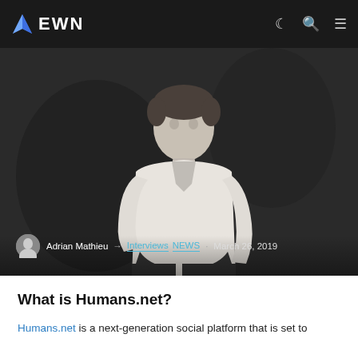EWN
[Figure (photo): Black and white portrait photo of a man in a white shirt standing against a dark background. Overlaid with author metadata: Adrian Mathieu · Interviews NEWS · March 26, 2019]
What is Humans.net?
Humans.net is a next-generation social platform that is set to